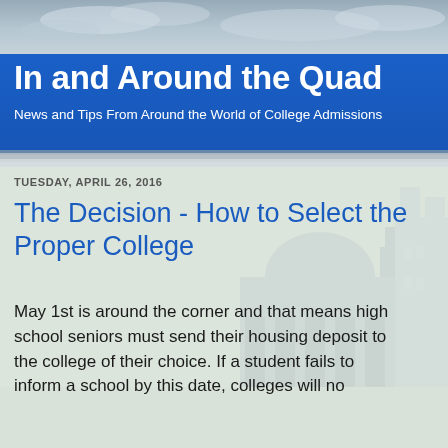[Figure (photo): Cloudy sky background behind a blue banner header]
In and Around the Quad
News and Tips From Around the World of College Admissions
[Figure (photo): Campus building watermark/background image with arches and dome]
TUESDAY, APRIL 26, 2016
The Decision - How to Select the Proper College
May 1st is around the corner and that means high school seniors must send their housing deposit to the college of their choice. If a student fails to inform a school by this date, colleges will no